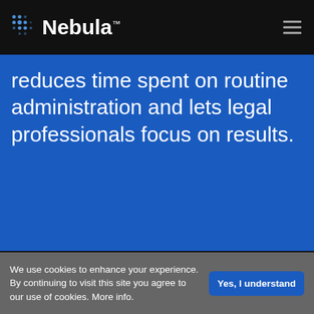[Figure (logo): Nebula logo with dot-pattern icon and wordmark on dark navigation bar]
reduces time spent on routine administration and lets legal professionals focus on results.
We use cookies to enhance your experience. By continuing to visit this site you agree to our use of cookies. More info.